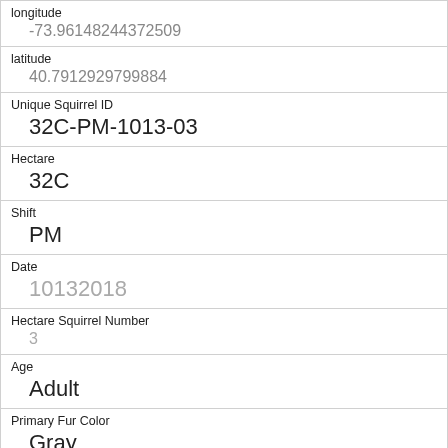| Field | Value |
| --- | --- |
| longitude | -73.96148244372509 |
| latitude | 40.7912929799884 |
| Unique Squirrel ID | 32C-PM-1013-03 |
| Hectare | 32C |
| Shift | PM |
| Date | 10132018 |
| Hectare Squirrel Number | 3 |
| Age | Adult |
| Primary Fur Color | Gray |
| Highlight Fur Color |  |
| Combination of Primary and Highlight Color |  |